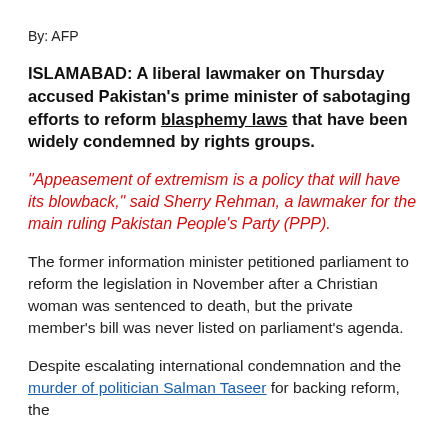By: AFP
ISLAMABAD: A liberal lawmaker on Thursday accused Pakistan's prime minister of sabotaging efforts to reform blasphemy laws that have been widely condemned by rights groups.
“Appeasement of extremism is a policy that will have its blowback,” said Sherry Rehman, a lawmaker for the main ruling Pakistan People’s Party (PPP).
The former information minister petitioned parliament to reform the legislation in November after a Christian woman was sentenced to death, but the private member’s bill was never listed on parliament’s agenda.
Despite escalating international condemnation and the murder of politician Salman Taseer for backing reform, the